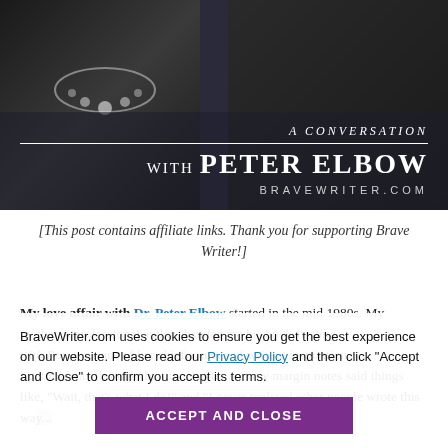[Figure (photo): Photo of two people (a woman in black with statement necklace and a man in dark shirt) with overlay text: 'A Conversation with Peter Elbow' and 'BRAVEWRITER.COM']
[This post contains affiliate links. Thank you for supporting Brave Writer!]
My love affair with Dr. Peter Elbow started in the mid 1980s. My mother, a professional author, handed me his book Writing with Power as one of her chief sources of writing inspiration. I got midway through the first chapter and my margin notes said things like, "Wait, that's what I do!" and "I never realized other people wrote this way..."
BraveWriter.com uses cookies to ensure you get the best experience on our website. Please read our Privacy Policy and then click "Accept and Close" to confirm you accept its terms.
ACCEPT AND CLOSE